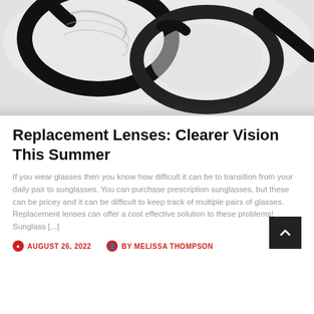[Figure (photo): Close-up photo of black eyeglass frames on a light gray background]
Replacement Lenses: Clearer Vision This Summer
If you wear glasses then you know how difficult it can be to transition from your daily pair to sunglasses. You can purchase prescription sunglasses, but these can be pricey and it can be difficult to keep track of multiple pairs of glasses. Replacement lenses can offer a cost effective solution to these problems! Sunglass [...]
AUGUST 26, 2022   BY MELISSA THOMPSON